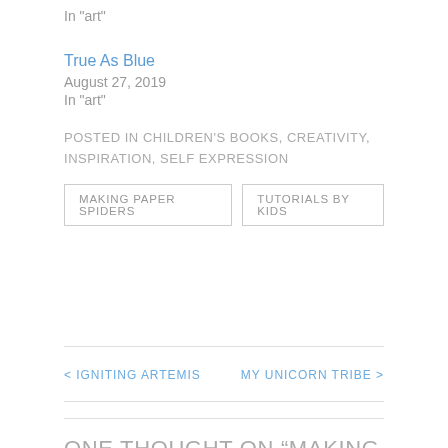In "art"
True As Blue
August 27, 2019
In "art"
POSTED IN CHILDREN'S BOOKS, CREATIVITY, INSPIRATION, SELF EXPRESSION
MAKING PAPER SPIDERS
TUTORIALS BY KIDS
< IGNITING ARTEMIS
MY UNICORN TRIBE >
ONE THOUGHT ON “MAKING PAPER